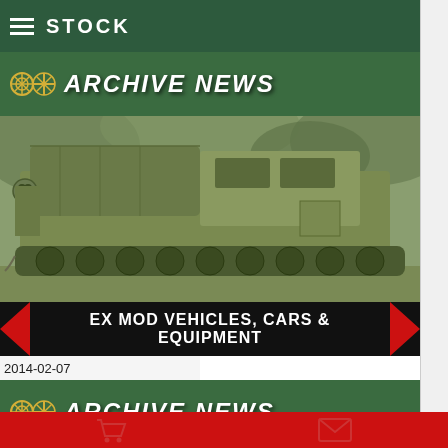STOCK
ARCHIVE NEWS
[Figure (photo): Military tracked armored personnel carrier / vehicle in olive drab green, parked outdoors with foliage in background. Sepia/green tinted photograph.]
EX MOD VEHICLES, CARS & EQUIPMENT
2014-02-07
ARCHIVE NEWS
[Figure (photo): Partial view of another military vehicle, partially visible at bottom of page.]
Shopping cart | Mail icon